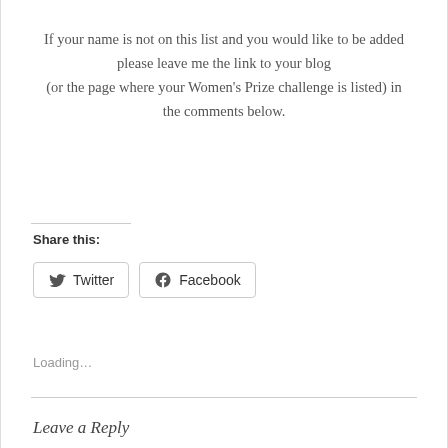If your name is not on this list and you would like to be added please leave me the link to your blog (or the page where your Women's Prize challenge is listed) in the comments below.
Share this:
Twitter
Facebook
Loading...
Leave a Reply